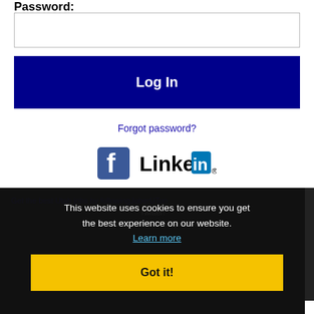Password:
Log In
Forgot password?
[Figure (logo): Facebook and LinkedIn social login icons]
Get the best Utah jobs by followingJoberUTon Twitter! Subscribe to our RSS job feeds
This website uses cookies to ensure you get the best experience on our website. Learn more
Got it!